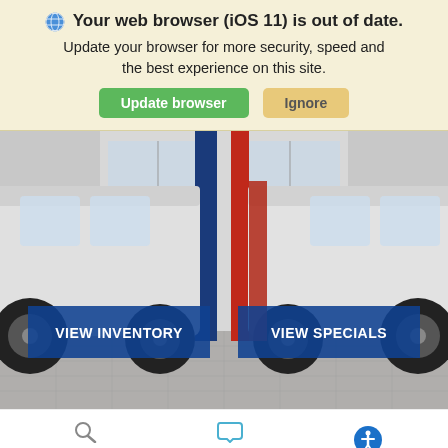🌐 Your web browser (iOS 11) is out of date. Update your browser for more security, speed and the best experience on this site.
Update browser | Ignore
[Figure (photo): Two white commercial vans parked in a warehouse/depot with blue and red structural columns between them. Two blue overlay buttons read VIEW INVENTORY and VIEW SPECIALS.]
Search  Chat  (accessibility icon)